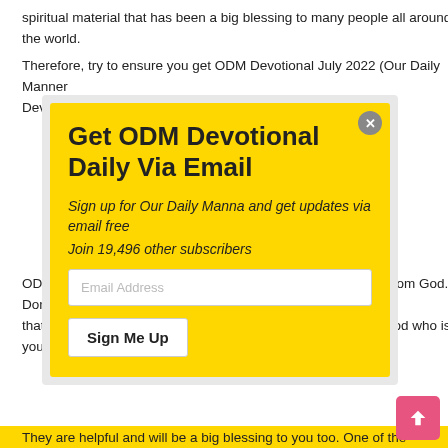spiritual material that has been a big blessing to many people all around the world.
Therefore, try to ensure you get ODM Devotional July 2022 (Our Daily Manner Devotional July 2022).
[Figure (screenshot): Modal popup with yellow background titled 'Get ODM Devotional Daily Via Email'. Contains subtitle 'Sign up for Our Daily Manna and get updates via email free', subscriber count 'Join 19,496 other subscribers', an email input field, and a 'Sign Me Up' button. A close button (X) appears in the top right corner.]
ODM Devotional July 2022 can help you receive great things from God. Don't forget that these words you read from the devotional are sent from God who is your Father.
They are helpful and will be a big blessing to you too. One of the